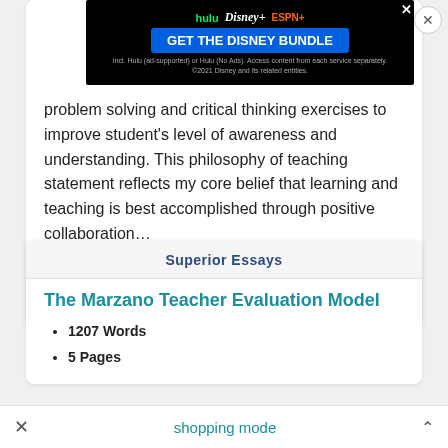[Figure (screenshot): Disney Bundle advertisement banner with Hulu, Disney+, ESPN+ logos and 'GET THE DISNEY BUNDLE' call to action button]
problem solving and critical thinking exercises to improve student's level of awareness and understanding. This philosophy of teaching statement reflects my core belief that learning and teaching is best accomplished through positive collaboration…
Read More
Superior Essays
The Marzano Teacher Evaluation Model
1207 Words
5 Pages
shopping mode